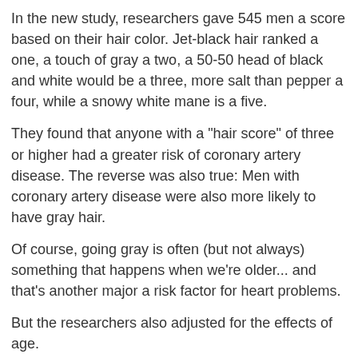In the new study, researchers gave 545 men a score based on their hair color. Jet-black hair ranked a one, a touch of gray a two, a 50-50 head of black and white would be a three, more salt than pepper a four, while a snowy white mane is a five.
They found that anyone with a "hair score" of three or higher had a greater risk of coronary artery disease. The reverse was also true: Men with coronary artery disease were also more likely to have gray hair.
Of course, going gray is often (but not always) something that happens when we're older... and that's another major a risk factor for heart problems.
But the researchers also adjusted for the effects of age.
They found gray hair, on its own, is an INDEPENDENT risk factor for heart problems, regardless of age. In fact, they found that checking your "hair score" might be the SIMPLEST test of heart risk out there.
Like I said earlier, don't panic if your own hair is going gray.